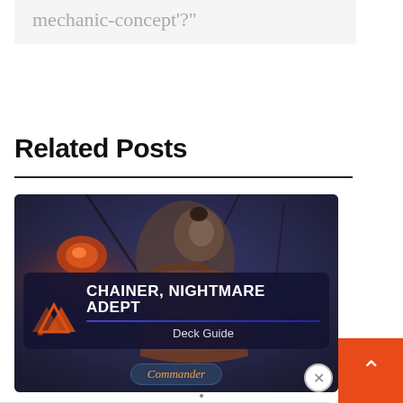mechanic-concept'?"
Related Posts
[Figure (illustration): Promotional card image for 'Chainer, Nightmare Adept Deck Guide' with Commander badge. Dark fantasy illustration of a robed figure with chains against a dark blue background. Features the Magic: The Gathering logo, title text 'CHAINER, NIGHTMARE ADEPT', subtitle 'Deck Guide', and a 'Commander' badge.]